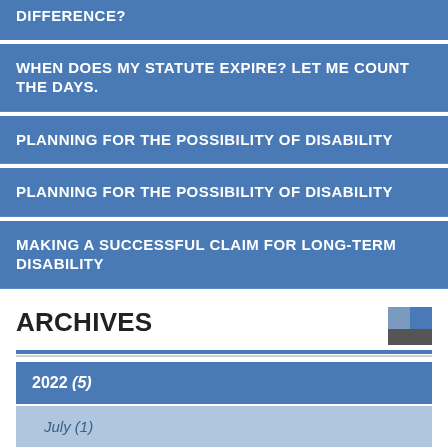Difference?
WHEN DOES MY STATUTE EXPIRE? LET ME COUNT THE DAYS.
PLANNING FOR THE POSSIBILITY OF DISABILITY
PLANNING FOR THE POSSIBILITY OF DISABILITY
MAKING A SUCCESSFUL CLAIM FOR LONG-TERM DISABILITY
ARCHIVES
2022 (5)
July (1)
June (2)